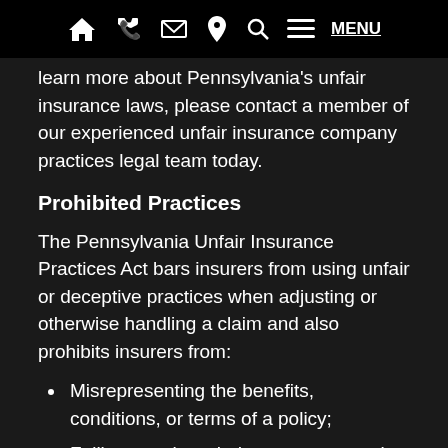🏠 📞 ✉ 📍 🔍 ≡ MENU
learn more about Pennsylvania's unfair insurance laws, please contact a member of our experienced unfair insurance company practices legal team today.
Prohibited Practices
The Pennsylvania Unfair Insurance Practices Act bars insurers from using unfair or deceptive practices when adjusting or otherwise handling a claim and also prohibits insurers from:
Misrepresenting the benefits, conditions, or terms of a policy;
Failing to acknowledge or act promptly upon notification of a claim;
Misrepresenting important facts or contract provisions related to policy coverage;
Denying a claim without conducting a reasonable